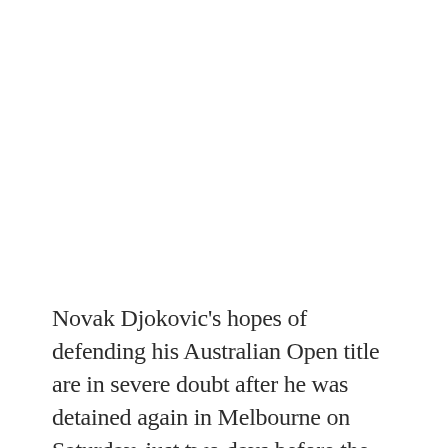[Figure (photo): Large image placeholder at top of page (white/blank area representing a photograph)]
Novak Djokovic's hopes of defending his Australian Open title are in severe doubt after he was detained again in Melbourne on Saturday, just two days before the start of